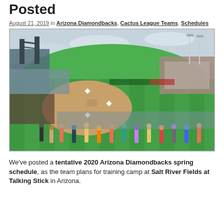Posted
August 21, 2019 in Arizona Diamondbacks, Cactus League Teams, Schedules
[Figure (photo): Aerial view of a baseball spring training stadium filled with fans, with bright green field and stadium lights visible, sunny day with overcast sky.]
We've posted a tentative 2020 Arizona Diamondbacks spring schedule, as the team plans for training camp at Salt River Fields at Talking Stick in Arizona.